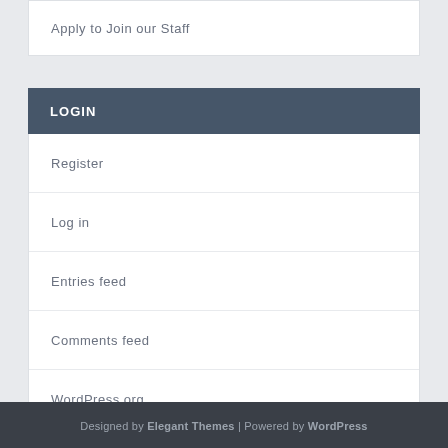Apply to Join our Staff
LOGIN
Register
Log in
Entries feed
Comments feed
WordPress.org
Designed by Elegant Themes | Powered by WordPress